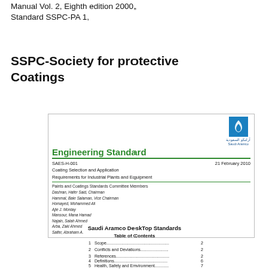Manual Vol. 2, Eighth edition 2000, Standard SSPC-PA 1,
SSPC-Society for protective Coatings
[Figure (logo): Saudi Aramco logo with flame icon and Arabic/English text]
Engineering Standard
SAES-H-001   21 February 2010
Coating Selection and Application
Requirements for Industrial Plants and Equipment
Paints and Coatings Standards Committee Members
Dashran, Hafer Said, Chairman
Hammal, Bakr Salaman, Vice Chairman
Homayed, Mohammed Ali
Ajie J. Montay
Mansour, Mana Hamad
Najain, Salah Ahmed
Arba, Zaki Ahmed
Salfer, Abraham A.
Saudi Aramco DeskTop Standards
Table of Contents
1  Scope......................................................... 2
2  Conflicts and Deviations.............................. 2
3  References.................................................. 2
4  Definitions.................................................. 6
5  Health, Safety and Environment.................. 7
6  General Requirements................................. 12
7  Coating Materials Selection......................... 16
8  Coating Application.................................... 30